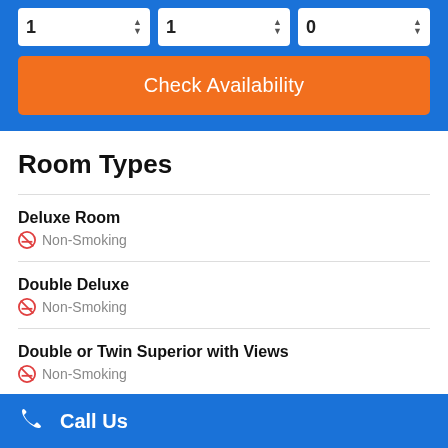[Figure (screenshot): Hotel booking widget with spinner inputs showing values 1, 1, 0 and an orange Check Availability button on a blue background]
Room Types
Deluxe Room
Non-Smoking
Double Deluxe
Non-Smoking
Double or Twin Superior with Views
Non-Smoking
Call Us